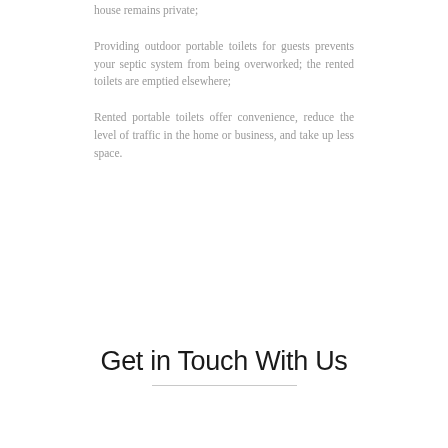house remains private;
Providing outdoor portable toilets for guests prevents your septic system from being overworked; the rented toilets are emptied elsewhere;
Rented portable toilets offer convenience, reduce the level of traffic in the home or business, and take up less space.
Get in Touch With Us